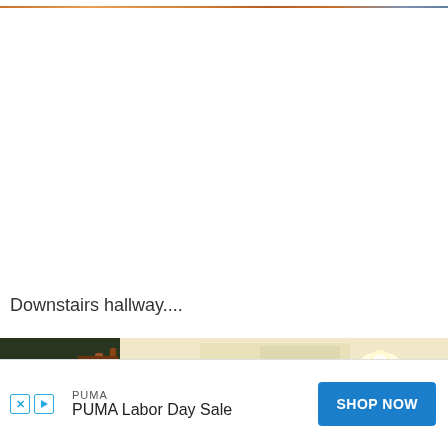[Figure (photo): Top portion of a photo visible at the very top of the page, showing warm orange/brown tones]
Downstairs hallway....
[Figure (photo): Interior photo of a downstairs hallway showing wooden stair railing, ceiling light fixture, and light-colored walls]
[Figure (photo): PUMA advertisement banner: PUMA Labor Day Sale with SHOP NOW button]